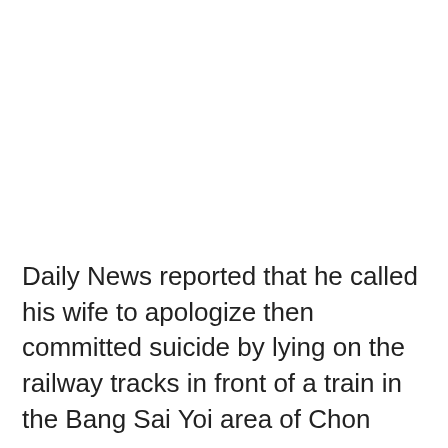Daily News reported that he called his wife to apologize then committed suicide by lying on the railway tracks in front of a train in the Bang Sai Yoi area of Chon...